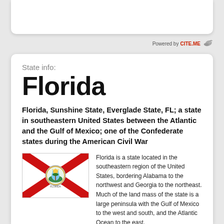[Figure (other): Top white card/panel area at the top of the page]
Powered by CITE.ME
State info:
Florida
Florida, Sunshine State, Everglade State, FL; a state in southeastern United States between the Atlantic and the Gulf of Mexico; one of the Confederate states during the American Civil War
[Figure (illustration): Florida state flag — white background with red X (St. Andrew's Cross) and state seal in the center]
Florida is a state located in the southeastern region of the United States, bordering Alabama to the northwest and Georgia to the northeast. Much of the land mass of the state is a large peninsula with the Gulf of Mexico to the west and south, and the Atlantic Ocean to the east. Most of Florida has a humid subtropical climate; southern Florida has a tropical climate. Florida was named by Juan Ponce de León, who landed on the peninsula on April 2, 1513. Florida is the fourth most